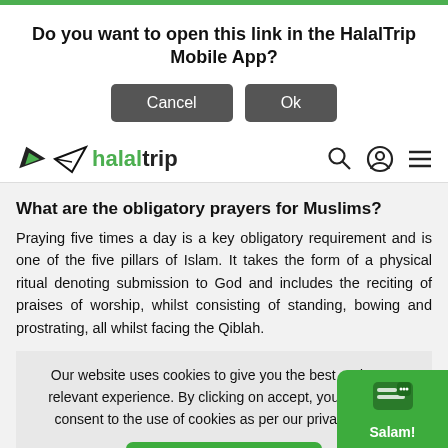Do you want to open this link in the HalalTrip Mobile App?
Cancel | Ok
halaltrip
What are the obligatory prayers for Muslims?
Praying five times a day is a key obligatory requirement and is one of the five pillars of Islam. It takes the form of a physical ritual denoting submission to God and includes the reciting of praises of worship, whilst consisting of standing, bowing and prostrating, all whilst facing the Qiblah.
Our website uses cookies to give you the best and most relevant experience. By clicking on accept, you give your consent to the use of cookies as per our privacy policy.
Accept